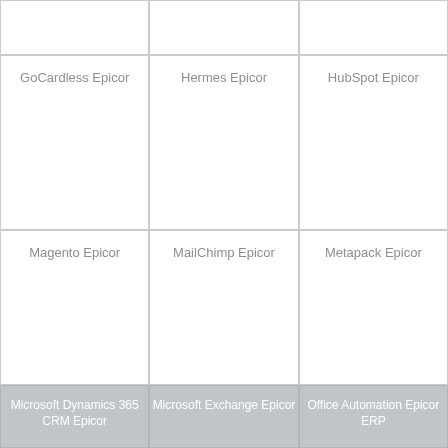|  |  |  |
| GoCardless Epicor | Hermes Epicor | HubSpot Epicor |
| Magento Epicor | MailChimp Epicor | Metapack Epicor |
| Microsoft Dynamics 365 CRM Epicor | Microsoft Exchange Epicor | Office Automation Epicor ERP |
We use cookies to ensure that we give you the best experience on our website. By continuing to browse this site you are agreeing to our privacy policy.